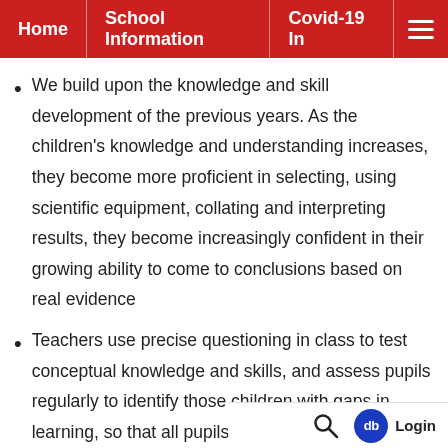Home | School Information | Covid-19 In
We build upon the knowledge and skill development of the previous years. As the children's knowledge and understanding increases, they become more proficient in selecting, using scientific equipment, collating and interpreting results, they become increasingly confident in their growing ability to come to conclusions based on real evidence
Teachers use precise questioning in class to test conceptual knowledge and skills, and assess pupils regularly to identify those children with gaps in learning, so that all pupils keep up. Tasks are selected and designed to provide appropriate challenge to all learners, in line with the school's co...